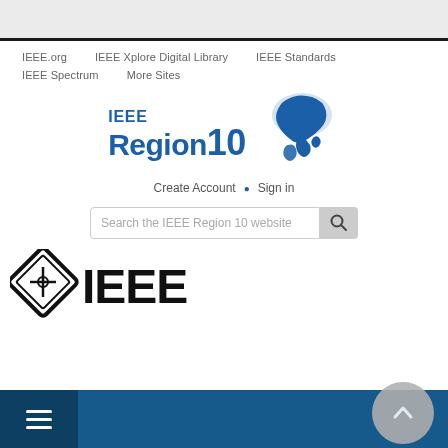IEEE.org
IEEE Xplore Digital Library
IEEE Standards
IEEE Spectrum
More Sites
[Figure (logo): IEEE Region 10 logo with Asia-Pacific map graphic, blue text reading IEEE Region 10]
Create Account · Sign in
Search the IEEE Region 10 website
[Figure (logo): IEEE main logo: black diamond shape with circuit symbol and bold IEEE text]
Navigation menu bar with hamburger icon and scroll-to-top button